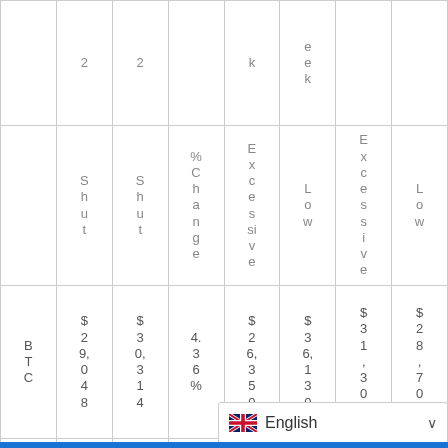|  | Shut | Shut | %Change | Excessive | Low | Excessive | Low |
| --- | --- | --- | --- | --- | --- | --- | --- |
|  | 2 | 2 |  | k | e e k |  |  |
|  | S h u t | S h u t | % C h a n g e | E x c e s s i v e | L o w | E x c e s s i v e | L o w |
| B T C | $29,048 | $30,314 | 4.36% | $26,350 | $36,130 | $31,308 | $28,703 |
| E T | $1, | $2, | 2.8 | $ | $ | $ | $ |